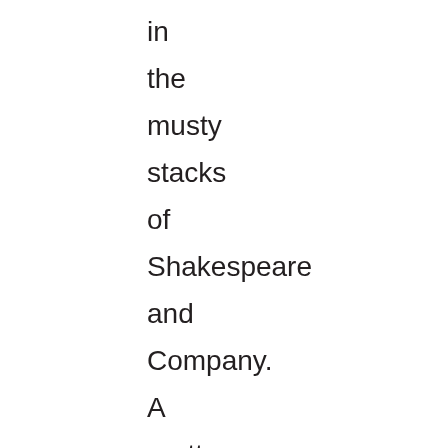in the musty stacks of Shakespeare and Company. A pretty girl invites him to a tea party. And Mercer falls — or, more